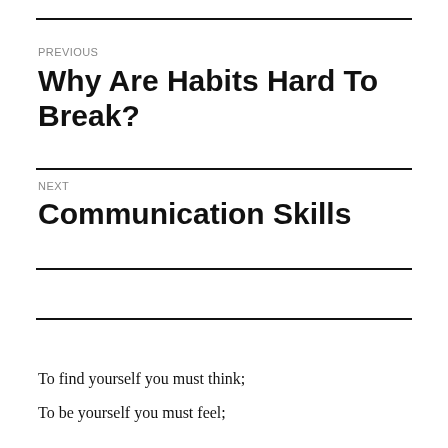PREVIOUS
Why Are Habits Hard To Break?
NEXT
Communication Skills
To find yourself you must think;
To be yourself you must feel;